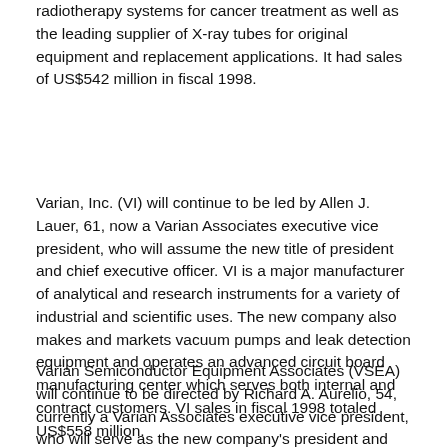radiotherapy systems for cancer treatment as well as the leading supplier of X-ray tubes for original equipment and replacement applications. It had sales of US$542 million in fiscal 1998.
Varian, Inc. (VI) will continue to be led by Allen J. Lauer, 61, now a Varian Associates executive vice president, who will assume the new title of president and chief executive officer. VI is a major manufacturer of analytical and research instruments for a variety of industrial and scientific uses. The new company also makes and markets vacuum pumps and leak detection equipment and operates an advanced circuit board manufacturing center which serves both internal and contract customers. VI sales in fiscal 1998 totaled US$558 million.
Varian Semiconductor Equipment Associates (VSEA) will continue to be directed by Richard A. Aurelio, 54, currently a Varian Associates executive vice president, who will serve as the new company's president and chief executive officer. VSEA manufactures and services ion implantation systems